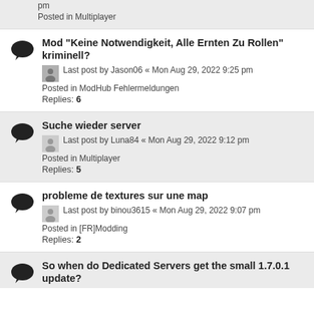pm
Posted in Multiplayer
Mod "Keine Notwendigkeit, Alle Ernten Zu Rollen" kriminell?
Last post by Jason06 « Mon Aug 29, 2022 9:25 pm
Posted in ModHub Fehlermeldungen
Replies: 6
Suche wieder server
Last post by Luna84 « Mon Aug 29, 2022 9:12 pm
Posted in Multiplayer
Replies: 5
probleme de textures sur une map
Last post by binou3615 « Mon Aug 29, 2022 9:07 pm
Posted in [FR]Modding
Replies: 2
So when do Dedicated Servers get the small 1.7.0.1 update?